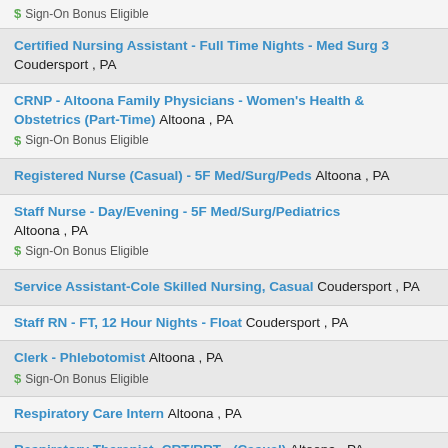$ Sign-On Bonus Eligible
Certified Nursing Assistant - Full Time Nights - Med Surg 3 Coudersport , PA
CRNP - Altoona Family Physicians - Women's Health & Obstetrics (Part-Time) Altoona , PA
$ Sign-On Bonus Eligible
Registered Nurse (Casual) - 5F Med/Surg/Peds Altoona , PA
Staff Nurse - Day/Evening - 5F Med/Surg/Pediatrics Altoona , PA
$ Sign-On Bonus Eligible
Service Assistant-Cole Skilled Nursing, Casual Coudersport , PA
Staff RN - FT, 12 Hour Nights - Float Coudersport , PA
Clerk - Phlebotomist Altoona , PA
$ Sign-On Bonus Eligible
Respiratory Care Intern Altoona , PA
Respiratory Therapist -CRT/RRT - (Casual) Altoona , PA